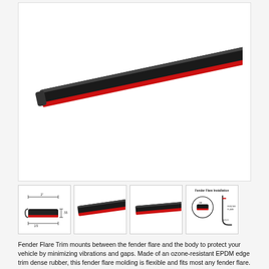[Figure (photo): Main product photo: a long black rubber fender flare trim strip with red adhesive tape backing, shown diagonally on white background.]
[Figure (photo): Thumbnail 1: cross-section diagram of the fender flare trim with dimension annotations showing width and height measurements.]
[Figure (photo): Thumbnail 2: side view of the black fender flare trim strip on white background.]
[Figure (photo): Thumbnail 3: front view of the black fender flare trim strip, shorter angle on white background.]
[Figure (schematic): Thumbnail 4: Fender Flare Installation diagram showing a circular cross-section view and a hook/J-channel profile illustration with labels.]
Fender Flare Trim mounts between the fender flare and the body to protect your vehicle by minimizing vibrations and gaps. Made of an ozone-resistant EPDM edge trim dense rubber, this fender flare molding is flexible and fits most any fender flare. A 3M automotive grade peel-n-stick tape